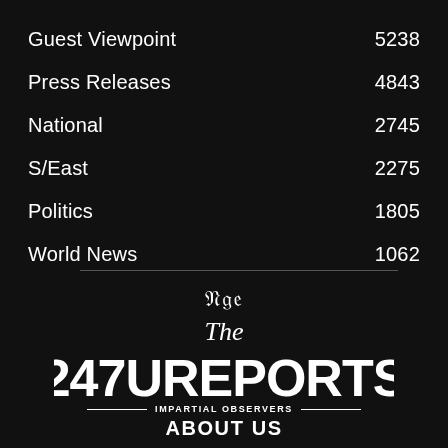Guest Viewpoint    5238
Press Releases    4843
National    2745
S/East    2275
Politics    1805
World News    1062
[Figure (logo): 247Ureports logo with blackletter 'The' above, large bold '247UREPORTS' text, and tagline 'IMPARTIAL OBSERVERS' with decorative lines]
ABOUT US